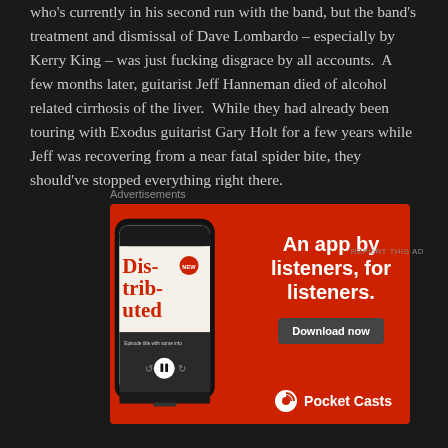who's currently in his second run with the band, but the band's treatment and dismissal of Dave Lombardo – especially by Kerry King – was just fucking disgrace by all accounts.  A few months later, guitarist Jeff Hanneman died of alcohol related cirrhosis of the liver.  While they had already been touring with Exodus guitarist Gary Holt for a few years while Jeff was recovering from a near fatal spider bite, they should've stopped everything right there.
Advertisements
[Figure (photo): Pocket Casts advertisement on red background featuring a phone mockup showing the app with 'Distributed' podcast, headline 'An app by listeners, for listeners.' and a 'Download now' button, with Pocket Casts logo at bottom.]
REPORT THIS AD